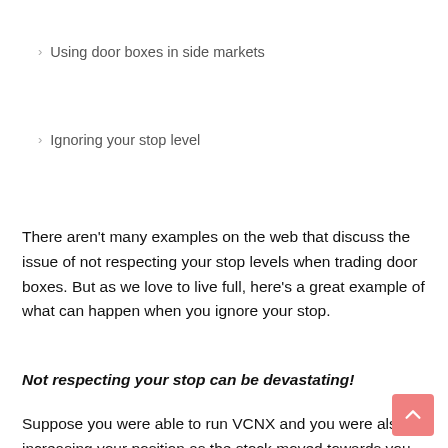Using door boxes in side markets
Ignoring your stop level
There aren't many examples on the web that discuss the issue of not respecting your stop levels when trading door boxes. But as we love to live full, here's a great example of what can happen when you ignore your stop.
Not respecting your stop can be devastating!
Suppose you were able to run VCNX and you were also increasing your position as the stock moved towards you. Then the inevitable